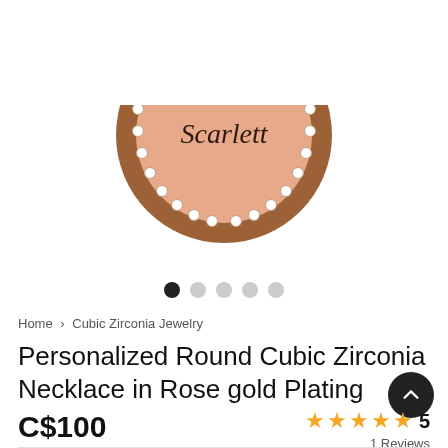[Figure (photo): Personalized round cubic zirconia necklace pendant with rose gold plating, engraved with the name 'Scarlett', surrounded by white crystal stones on the border. Only the bottom half of the circular pendant is visible.]
● ○ ○ ○ ○ (image carousel dots, first active)
Home > Cubic Zirconia Jewelry
Personalized Round Cubic Zirconia Necklace in Rose gold Plating
C$100
★★★★★ 5
1 Reviews